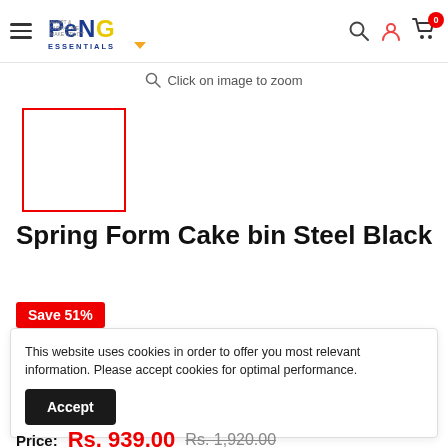Peng Essentials — navigation header with logo, hamburger menu, search, user, and cart icons
Click on image to zoom
[Figure (photo): Product thumbnail placeholder box with red border]
Spring Form Cake bin Steel Black
Save 51%
This website uses cookies in order to offer you most relevant information. Please accept cookies for optimal performance.
Accept
Price: Rs. 939.00  Rs. 1,920.00